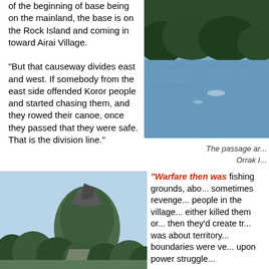of the beginning of base being on the mainland, the base is on the Rock Island and coming in toward Airai Village.

"But that causeway divides east and west. If somebody from the east side offended Koror people and started chasing them, and they rowed their canoe, once they passed that they were safe. That is the division line."
[Figure (photo): Water passage with mangrove trees along the shoreline, seen from close to water level]
The passage ar... Orrak I...
[Figure (photo): Rocky forested hillside with trees in foreground and a path or road visible at the base]
"Warfare then was... fishing grounds, abo... sometimes revenge... people in the village... either killed them or... then they'd create tr... was about territory... boundaries were ve... upon power struggle...